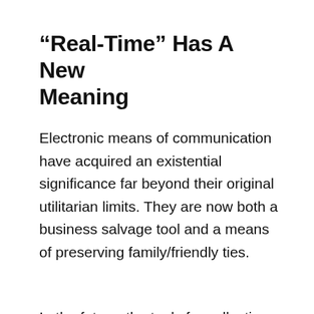“Real-Time” Has A New Meaning
Electronic means of communication have acquired an existential significance far beyond their original utilitarian limits. They are now both a business salvage tool and a means of preserving family/friendly ties.
In the future, the tools for collective work and communication will rapidly evolve toward “real-time social networks.” One of their most